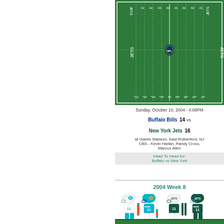[Figure (illustration): New York Jets football field top-down view with yard line markings, Jets logo, and NFL shield at center]
Sunday, October 10, 2004 - 4:06PM
Buffalo Bills  14  vs
New York Jets  16
at Giants Stadium, East Rutherford, NJ
CBS - Kevin Harlan, Randy Cross,
Marcus Allen
Head To Head for:
Buffalo vs New York
2004 Week 8
[Figure (illustration): NFL uniform illustrations showing Miami Dolphins (white and teal uniforms) and New York Jets (green uniforms) with number 11 jerseys and player figures]